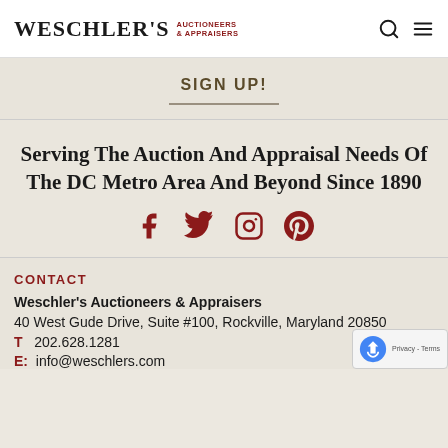WESCHLER'S AUCTIONEERS & APPRAISERS
SIGN UP!
Serving The Auction And Appraisal Needs Of The DC Metro Area And Beyond Since 1890
[Figure (illustration): Social media icons: Facebook, Twitter, Instagram, Pinterest in dark red]
CONTACT
Weschler's Auctioneers & Appraisers
40 West Gude Drive, Suite #100, Rockville, Maryland 20850
T   202.628.1281
E:  info@weschlers.com